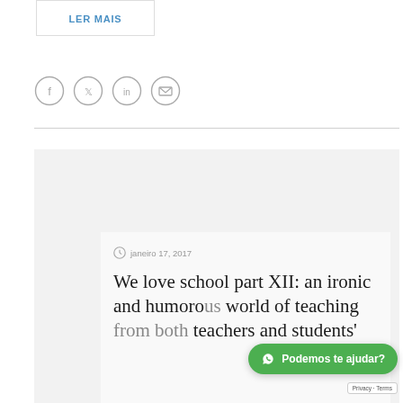LER MAIS
[Figure (other): Social sharing icons: Facebook, Twitter, LinkedIn, Email — each in a circle outline]
janeiro 17, 2017
We love school part XII: an ironic and humorous world of teaching from both teachers and students'